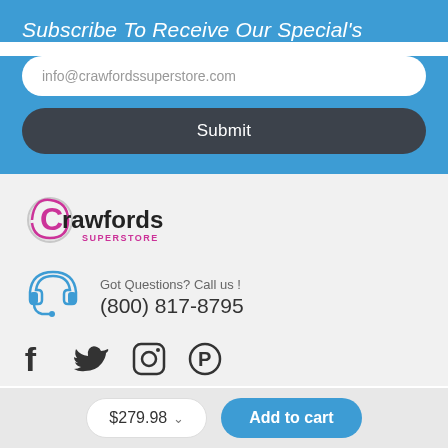Subscribe To Receive Our Special's
info@crawfordssuperstore.com
Submit
[Figure (logo): Crawfords Superstore logo with pink/magenta C and swirl, SUPERSTORE text below]
Got Questions? Call us !
(800) 817-8795
[Figure (infographic): Social media icons: Facebook, Twitter, Instagram, Pinterest]
$279.98
Add to cart